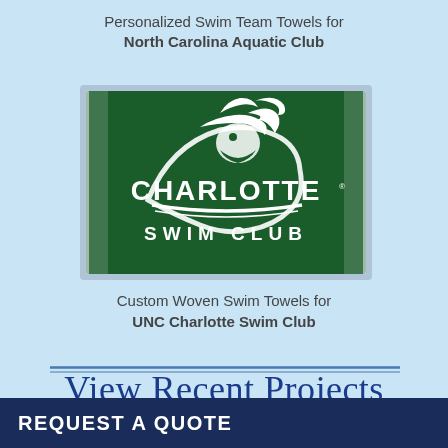Personalized Swim Team Towels for North Carolina Aquatic Club
[Figure (logo): Charlotte Swim Club logo on a dark green background with a 49er mascot holding the word CHARLOTTE, and SWIM CLUB text below]
Custom Woven Swim Towels for UNC Charlotte Swim Club
View Recent Projects
REQUEST A QUOTE